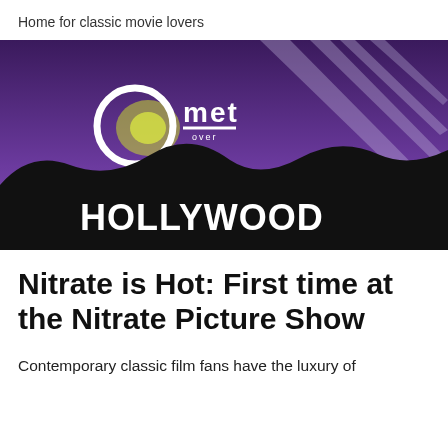Home for classic movie lovers
[Figure (illustration): Comet Over Hollywood banner image: purple night sky with searchlight beams, silhouette of hills with HOLLYWOOD sign, Comet Over Hollywood logo at top left]
Nitrate is Hot: First time at the Nitrate Picture Show
Contemporary classic film fans have the luxury of